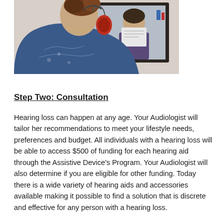[Figure (photo): A woman seen from behind with red audiological headphones on, looking into a mirror where another person (audiologist) is visible. The setting appears to be a medical/audiology clinic.]
Step Two: Consultation
Hearing loss can happen at any age. Your Audiologist will tailor her recommendations to meet your lifestyle needs, preferences and budget. All individuals with a hearing loss will be able to access $500 of funding for each hearing aid through the Assistive Device's Program. Your Audiologist will also determine if you are eligible for other funding. Today there is a wide variety of hearing aids and accessories available making it possible to find a solution that is discrete and effective for any person with a hearing loss.